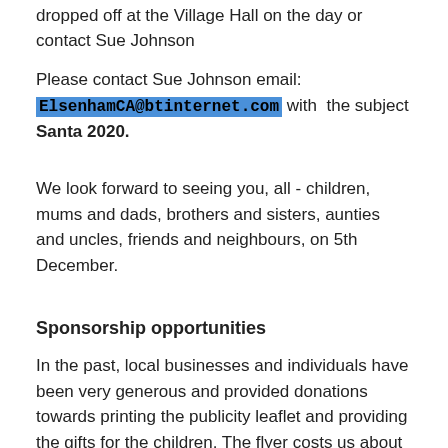dropped off at the Village Hall on the day or contact Sue Johnson
Please contact Sue Johnson email: ElsenhamCA@btinternet.com with the subject Santa 2020.
We look forward to seeing you, all - children, mums and dads, brothers and sisters, aunties and uncles, friends and neighbours, on 5th December.
Sponsorship opportunities
In the past, local businesses and individuals have been very generous and provided donations towards printing the publicity leaflet and providing the gifts for the children. The flyer costs us about £80, the gifts several hundred pounds, so any amount large or small will help. We have also received donated prizes for the tombola; vouchers for beauty treatments or meals, bottles of spirits or boxes of chocolates.
If you or your business would be willing to get involved in this way, that would really be appreciated. The Santa event is not a profit-making or fund-raising event, it's just organised so the kids in the